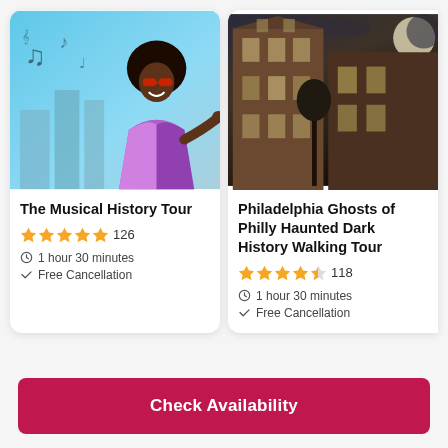[Figure (photo): The Musical History Tour card with a man in disco outfit pointing at camera, colorful music notes in background with city skyline]
The Musical History Tour
★★★★★ 126
1 hour 30 minutes
Free Cancellation
[Figure (photo): Philadelphia Ghosts of Philly Haunted Dark History Walking Tour card showing a dark colonial brick building at night with a moon]
Philadelphia Ghosts of Philly Haunted Dark History Walking Tour
★★★★½ 118
1 hour 30 minutes
Free Cancellation
Check Availability